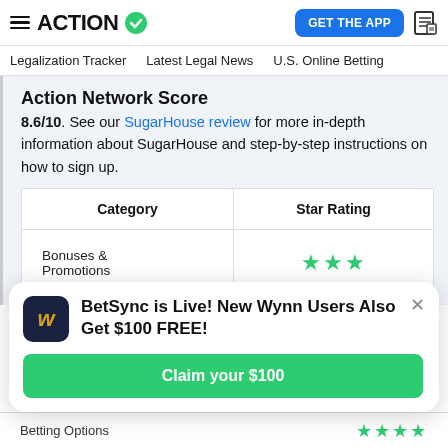ACTION ✓  |  GET THE APP  |  [news icon]
Legalization Tracker   Latest Legal News   U.S. Online Betting
Action Network Score
8.6/10. See our SugarHouse review for more in-depth information about SugarHouse and step-by-step instructions on how to sign up.
| Category | Star Rating |
| --- | --- |
| Bonuses & Promotions | ★★★ |
BetSync is Live! New Wynn Users Also Get $100 FREE!
Claim your $100
Betting Options